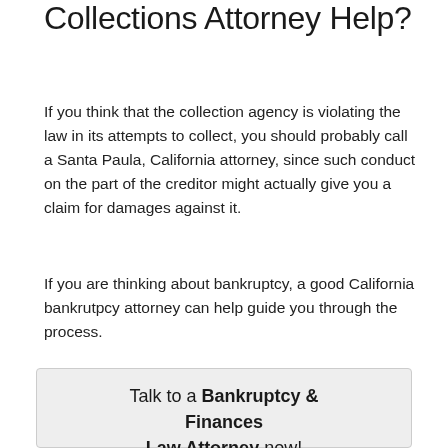Collections Attorney Help?
If you think that the collection agency is violating the law in its attempts to collect, you should probably call a Santa Paula, California attorney, since such conduct on the part of the creditor might actually give you a claim for damages against it.
If you are thinking about bankruptcy, a good California bankrutpcy attorney can help guide you through the process.
Talk to a Bankruptcy & Finances Law Attorney now!
Zip Code or City